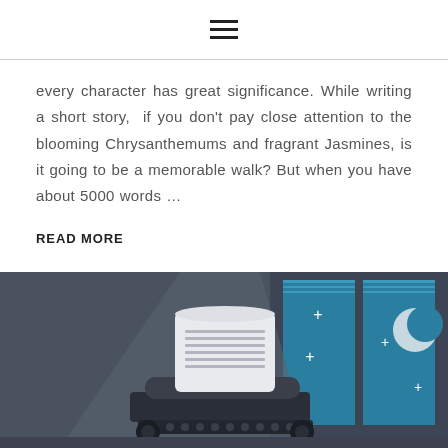≡
every character has great significance. While writing a short story,  if you don't pay close attention to the blooming Chrysanthemums and fragrant Jasmines, is it going to be a memorable walk? But when you have about 5000 words …
READ MORE
[Figure (illustration): Illustration of a vintage typewriter on a dark slate-grey background with a window showing a night sky with a crescent moon and stars/plus signs. The typewriter has a sheet of paper with lines on it.]